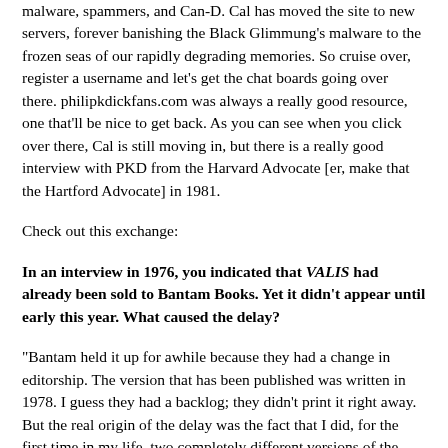malware, spammers, and Can-D. Cal has moved the site to new servers, forever banishing the Black Glimmung's malware to the frozen seas of our rapidly degrading memories. So cruise over, register a username and let's get the chat boards going over there. philipkdickfans.com was always a really good resource, one that'll be nice to get back. As you can see when you click over there, Cal is still moving in, but there is a really good interview with PKD from the Harvard Advocate [er, make that the Hartford Advocate] in 1981.
Check out this exchange:
In an interview in 1976, you indicated that VALIS had already been sold to Bantam Books. Yet it didn't appear until early this year. What caused the delay?
"Bantam held it up for awhile because they had a change in editorship. The version that has been published was written in 1978. I guess they had a backlog; they didn't print it right away. But the real origin of the delay was the fact that I did, for the first time in my life, two completely different versions of the same book. The first version appears in the second